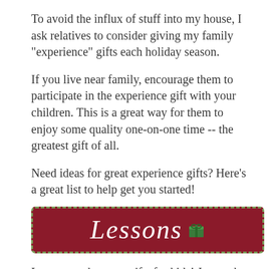To avoid the influx of stuff into my house, I ask relatives to consider giving my family "experience" gifts each holiday season.
If you live near family, encourage them to participate in the experience gift with your children. This is a great way for them to enjoy some quality one-on-one time -- the greatest gift of all.
Need ideas for great experience gifts? Here's a great list to help get you started!
[Figure (infographic): Dark red/maroon banner with dashed green border containing the word 'Lessons' in white italic script font with a small green gift box icon]
Lessons make great gifts for kids! Just make sure you've talked to the child's parents about their